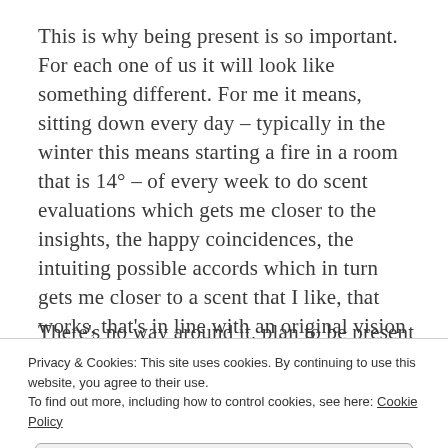This is why being present is so important. For each one of us it will look like something different. For me it means, sitting down every day – typically in the winter this means starting a fire in a room that is 14° – of every week to do scent evaluations which gets me closer to the insights, the happy coincidences, the intuiting possible accords which in turn gets me closer to a scent that I like, that works, that's in line with an original vision or plan.
There's no way around it, plan to be present every
Privacy & Cookies: This site uses cookies. By continuing to use this website, you agree to their use.
To find out more, including how to control cookies, see here: Cookie Policy
Close and accept